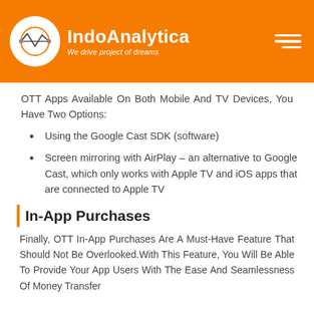IndoAnalytica — We drive project of dreams
OTT Apps Available On Both Mobile And TV Devices, You Have Two Options:
Using the Google Cast SDK (software)
Screen mirroring with AirPlay – an alternative to Google Cast, which only works with Apple TV and iOS apps that are connected to Apple TV
In-App Purchases
Finally, OTT In-App Purchases Are A Must-Have Feature That Should Not Be Overlooked.With This Feature, You Will Be Able To Provide Your App Users With The Ease And Seamlessness Of Money Transfer